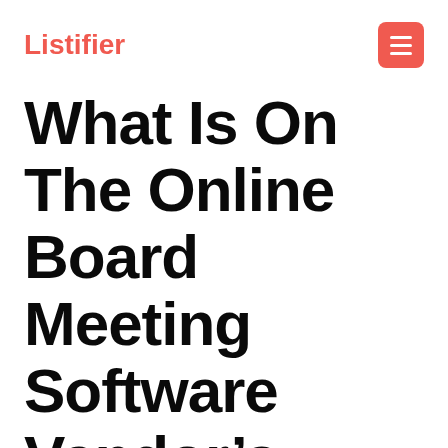Listifier
What Is On The Online Board Meeting Software Vendor’s Merchandise